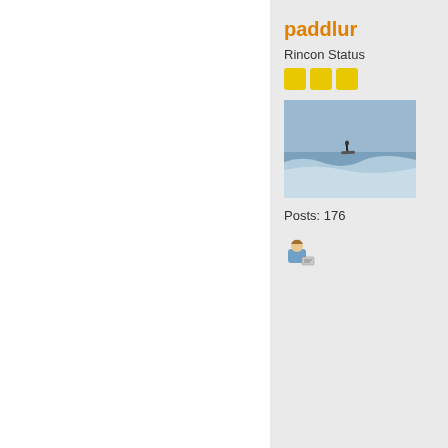paddlur
Rincon Status
[Figure (photo): Surfer riding a wave, ocean background, blue-gray water]
Posts: 176
[Figure (illustration): Small user/member icon with card]
co
« R
10:
Qu
Ag wit ha